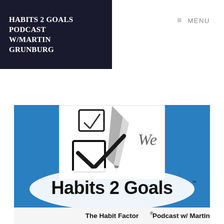HABITS 2 GOALS PODCAST W/MARTIN GRUNBURG
≡ MENU
[Figure (illustration): Habits 2 Goals podcast cover art showing a checklist with a checkmark pen on a blue background, with text 'Habits 2 Goals' in large bold letters and subtitle 'The Habit Factor® Podcast w/ Martin Grunburg']